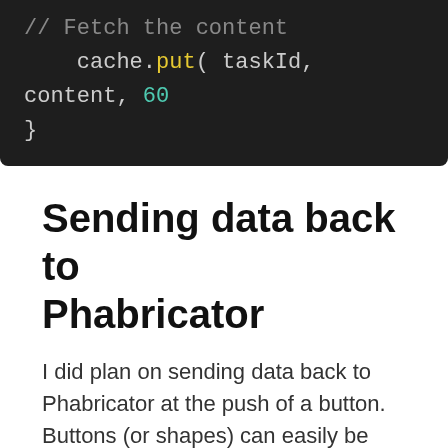[Figure (screenshot): Dark code editor screenshot showing PHP/Java code snippet: '// Fetch the content' comment, 'cache.put( taskId, content, 60' line with method 'put' in yellow and '60' in cyan, and closing brace '}']
Sending data back to Phabricator
I did plan on sending data back to Phabricator at the push of a button. Buttons (or shapes) can easily be created and trigger any functions defined in a script. But I need to wait for an upstream bug to get fixed for my specific use case. https://secure.phabricator.com/T13651
Share this:
Facebook  Twitter  LinkedIn  Reddit